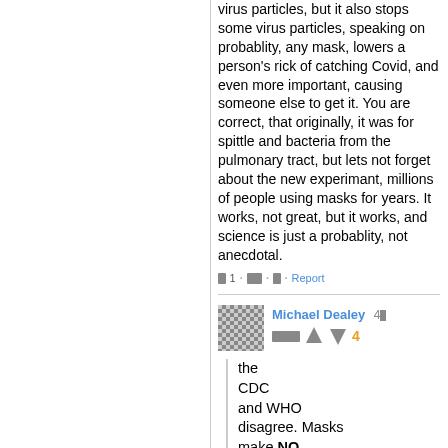virus particles, but it also stops some virus particles, speaking on probablity, any mask, lowers a person's rick of catching Covid, and even more important, causing someone else to get it. You are correct, that originally, it was for spittle and bacteria from the pulmonary tract, but lets not forget about the new experimant, millions of people using masks for years. It works, not great, but it works, and science is just a probablity, not anecdotal.
[redacted] 1 · [redacted] · [redacted] · Report
Michael Dealey 4[redacted]
[redacted]
the CDC and WHO disagree. Masks make NO STATISTICAL DIFFERENCE. Do I need to post